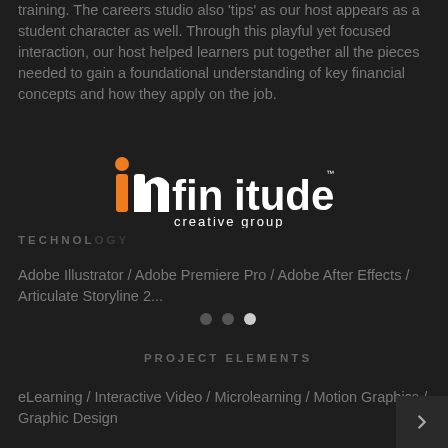training. The careers studio also 'tips' as our host appears as a student character as well. Through this playful yet focused interaction, our host helped learners put together all the pieces needed to gain a foundational understanding of key financial concepts and how they apply on the job.
[Figure (logo): Infinitude Creative Group logo — white and orange wordmark with 'infinitude' in bold and 'creative group' in smaller text below]
TECHNOLOGY
Adobe Illustrator / Adobe Premiere Pro / Adobe After Effects / Articulate Storyline 2...
PROJECT ELEMENTS
eLearning / Interactive Video / Microlearning / Motion Graphics / Graphic Design